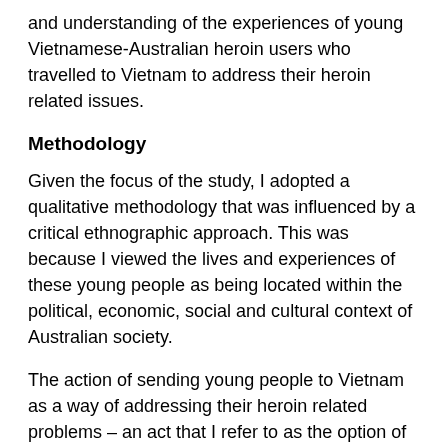and understanding of the experiences of young Vietnamese-Australian heroin users who travelled to Vietnam to address their heroin related issues.
Methodology
Given the focus of the study, I adopted a qualitative methodology that was influenced by a critical ethnographic approach. This was because I viewed the lives and experiences of these young people as being located within the political, economic, social and cultural context of Australian society.
The action of sending young people to Vietnam as a way of addressing their heroin related problems – an act that I refer to as the option of return – is largely a decision made by the young people's parents, and supported and assisted by their case-workers and other professionals ('workers'). Therefore, my research participants consisted of a range of workers (n=10), family members (n=5) and young people aged between 15 and 25 years (n=16).